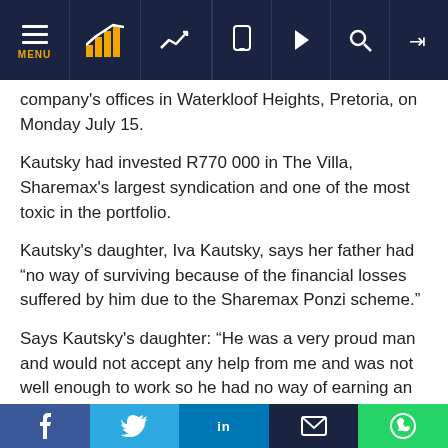Navigation bar with MENU, logo, trend icon, and mobile/play/search/login icons
company's offices in Waterkloof Heights, Pretoria, on Monday July 15.
Kautsky had invested R770 000 in The Villa, Sharemax's largest syndication and one of the most toxic in the portfolio.
Kautsky's daughter, Iva Kautsky, says her father had “no way of surviving because of the financial losses suffered by him due to the Sharemax Ponzi scheme.”
Says Kautsky's daughter: “He was a very proud man and would not accept any help from me and was not well enough to work so he had no way of earning an income to
Social share bar: Facebook, Twitter, LinkedIn, Email, WhatsApp